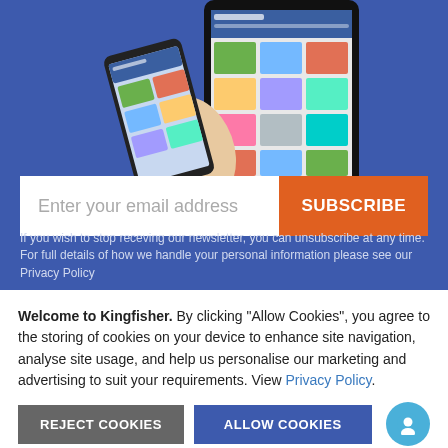[Figure (photo): Hand holding a smartphone and a tablet displaying an e-commerce website, against a blue background]
Enter your email address
SUBSCRIBE
If you wish to stop receving our newsletter, you can unsubscribe at any time. For full details of how we handle your personal information please see our Privacy Policy
Welcome to Kingfisher. By clicking “Allow Cookies”, you agree to the storing of cookies on your device to enhance site navigation, analyse site usage, and help us personalise our marketing and advertising to suit your requirements. View Privacy Policy.
REJECT COOKIES
ALLOW COOKIES